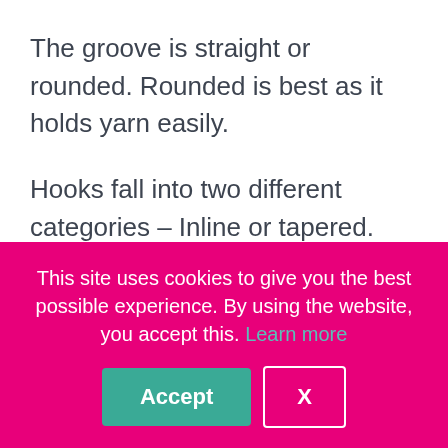The groove is straight or rounded. Rounded is best as it holds yarn easily.
Hooks fall into two different categories – Inline or tapered.
Length?
This site uses cookies to give you the best possible experience. By using the website, you accept this. Learn more